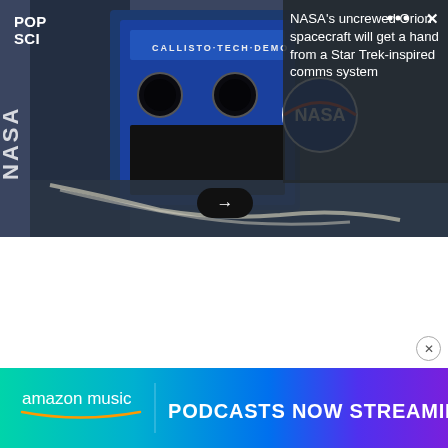[Figure (screenshot): NASA spacecraft interior photo showing a blue CALLISTO TECH DEMO device with NASA logo, mounted equipment, cables, and space station interior. Card overlay with dark right panel showing headline text, POP SCI logo top-left, three dots and X top-right, and arrow button.]
POP SCI
NASA's uncrewed Orion spacecraft will get a hand from a Star Trek-inspired comms system
[Figure (infographic): Amazon Music advertisement banner with gradient background (teal to purple). Shows 'amazon music' logo on left and 'PODCASTS NOW STREAMING' text in bold white on right.]